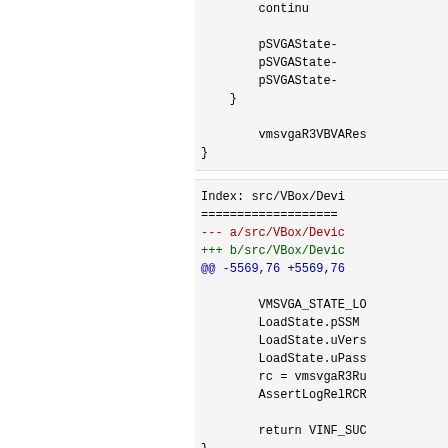[Figure (screenshot): Code snippet showing pSVGAState assignments and vmsvgaR3VBVARes call with closing braces]
[Figure (screenshot): Diff patch showing Index: src/VBox/Devi, file headers, @@ -5569,76 +5569,76, and code block with VMSVGA_STATE_LO, LoadState.pSSM, LoadState.uVers, LoadState.uPass, rc = vmsvgaR3Ru, AssertLogRelRCR, return VINF_SUC, closing brace, and comment block starting with /** * Reinit the video */ int vmsvgaR3LoadDon]